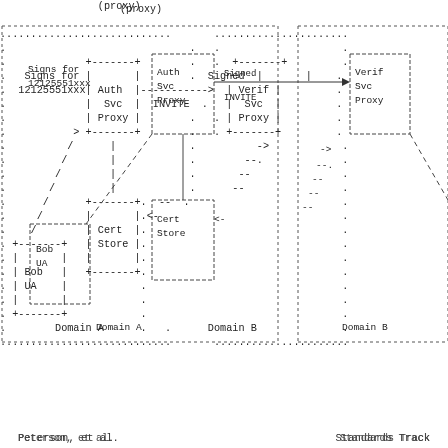[Figure (network-graph): ASCII-art network diagram showing SIP authentication flow between Domain A and Domain B. Includes Auth Svc Proxy, Verif Svc Proxy, Cert Store, and Bob UA. Shows signed INVITE message flow and certificate retrieval.]
Peterson, et al.                Standards Track